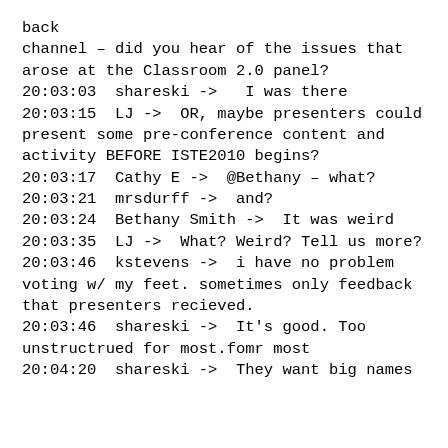back
channel – did you hear of the issues that arose at the Classroom 2.0 panel?
20:03:03  shareski ->   I was there
20:03:15  LJ ->  OR, maybe presenters could present some pre-conference content and activity BEFORE ISTE2010 begins?
20:03:17  Cathy E ->  @Bethany – what?
20:03:21  mrsdurff ->  and?
20:03:24  Bethany Smith ->  It was weird
20:03:35  LJ ->  What? Weird? Tell us more?
20:03:46  kstevens ->  i have no problem voting w/ my feet. sometimes only feedback that presenters recieved.
20:03:46  shareski ->  It's good. Too unstructrued for most.fomr most
20:04:20  shareski ->  They want big names